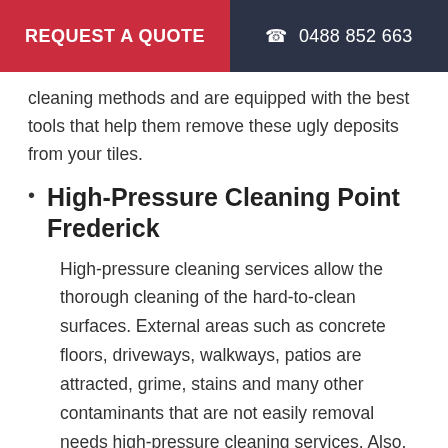REQUEST A QUOTE   0488 852 663
cleaning methods and are equipped with the best tools that help them remove these ugly deposits from your tiles.
High-Pressure Cleaning Point Frederick
High-pressure cleaning services allow the thorough cleaning of the hard-to-clean surfaces. External areas such as concrete floors, driveways, walkways, patios are attracted, grime, stains and many other contaminants that are not easily removal needs high-pressure cleaning services. Also, this method is an effective treatment of slippery floors. Our experienced and trained professionals are equipped with hi-tech tools and